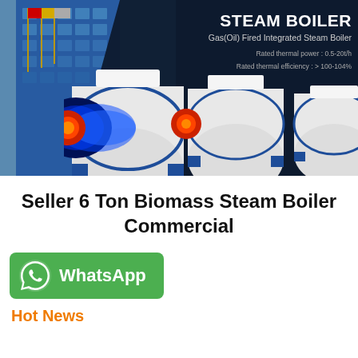[Figure (photo): Steam boiler product banner showing industrial building with flagpoles on the left and three gas/oil fired integrated steam boiler units on a dark navy background. Text overlay reads 'STEAM BOILER', 'Gas(Oil) Fired Integrated Steam Boiler', 'Rated thermal power: 0.5-20t/h', 'Rated thermal efficiency: > 100-104%'.]
Seller 6 Ton Biomass Steam Boiler Commercial
[Figure (logo): WhatsApp green button with phone icon and 'WhatsApp' text in white]
Hot News